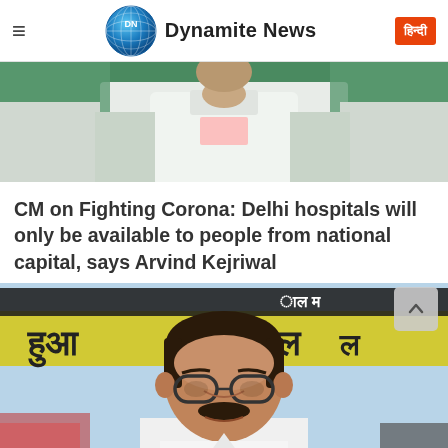Dynamite News
[Figure (photo): Top portion of a person in white clothing against a green/flag backdrop]
CM on Fighting Corona: Delhi hospitals will only be available to people from national capital, says Arvind Kejriwal
[Figure (photo): Arvind Kejriwal smiling, wearing glasses, in front of a yellow Hindi-script banner]